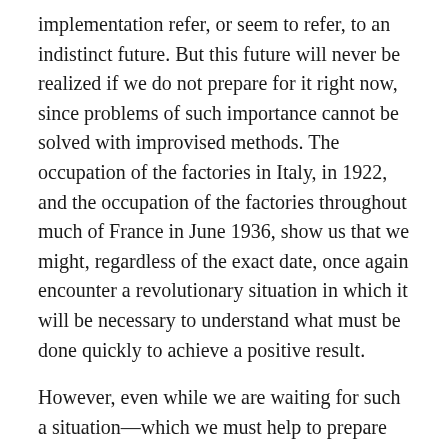implementation refer, or seem to refer, to an indistinct future. But this future will never be realized if we do not prepare for it right now, since problems of such importance cannot be solved with improvised methods. The occupation of the factories in Italy, in 1922, and the occupation of the factories throughout much of France in June 1936, show us that we might, regardless of the exact date, once again encounter a revolutionary situation in which it will be necessary to understand what must be done quickly to achieve a positive result.
However, even while we are waiting for such a situation—which we must help to prepare for by means of incessant study—to arise once again, why not immediately engage in some kind of initiative that could serve as a milestone along the road to the future?